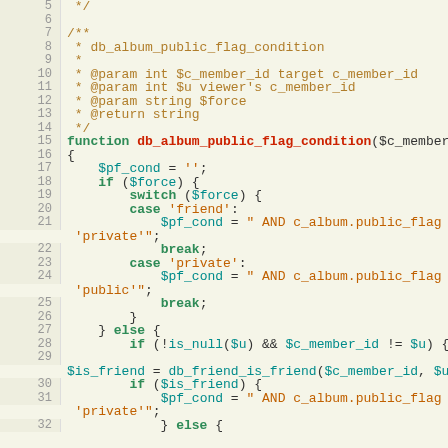Source code listing showing PHP function db_album_public_flag_condition, lines 5-32